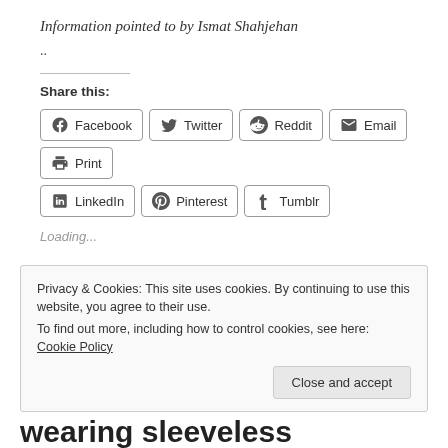Information pointed to by Ismat Shahjehan
..
Share this:
Facebook Twitter Reddit Email Print LinkedIn Pinterest Tumblr
Loading...
Privacy & Cookies: This site uses cookies. By continuing to use this website, you agree to their use. To find out more, including how to control cookies, see here: Cookie Policy
Close and accept
wearing sleeveless